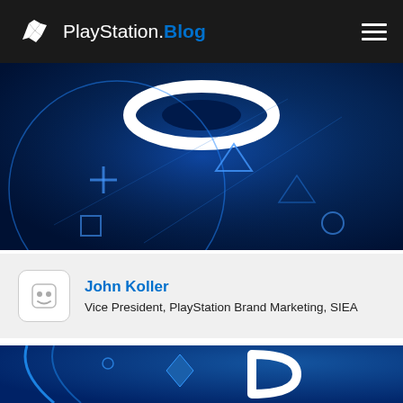PlayStation.Blog
[Figure (photo): PlayStation branded hero image with PS button symbols on dark blue background, large PlayStation logo visible at top center]
John Koller
Vice President, PlayStation Brand Marketing, SIEA
[Figure (photo): PlayStation branded image with blue background showing partial PS logo and controller elements]